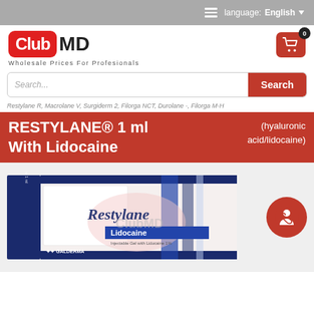language: English
[Figure (logo): ClubMD logo — red rounded rectangle with 'Club' in white and 'MD' in black, tagline: Wholesale Prices For Profesionals]
[Figure (other): Shopping cart icon in red box with badge showing 0]
Search...
Restylane R, Macrolane V, Surgiderm 2, Filorga NCT, Durolane -, Filorga M-H
RESTYLANE® 1 ml With Lidocaine (hyaluronic acid/lidocaine)
[Figure (photo): Restylane Lidocaine product box by Galderma — white and navy box with pink watermark logo. Club MD watermark overlaid.]